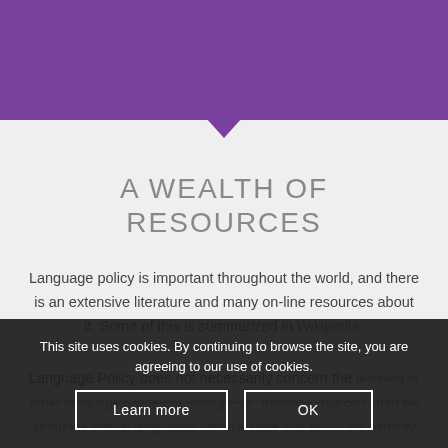A WEALTH OF RESOURCES
Language policy is important throughout the world, and there is an extensive literature and many on-line resources about it. Some of this is summarized in Wikipedia.
Language Policy does not necessarily concern the learning of other languages, whether “foreign” or “minority”, but can often be about the official languages within a state and about the minority langua...
This site uses cookies. By continuing to browse the site, you are agreeing to our use of cookies.